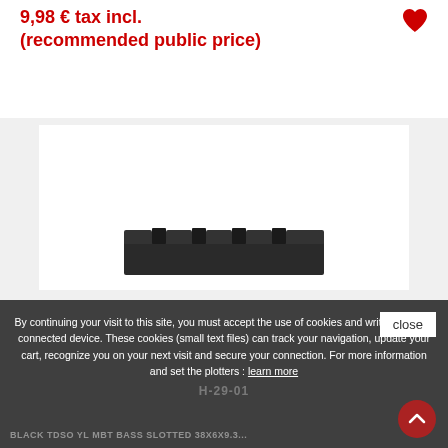9,98 € tax incl.
(recommended public price)
[Figure (photo): Product photo of a black bass guitar nut, rectangular with 4 string slots on top, viewed from slightly above. The nut is dark/matte black in color.]
By continuing your visit to this site, you must accept the use of cookies and writing on your connected device. These cookies (small text files) can track your navigation, update your cart, recognize you on your next visit and secure your connection. For more information and set the plotters : learn more
close
BLACK TDSO YL MBT BASS SLOTTED 38x6x9.3...